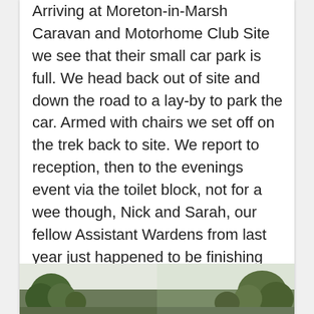Arriving at Moreton-in-Marsh Caravan and Motorhome Club Site we see that their small car park is full. We head back out of site and down the road to a lay-by to park the car. Armed with chairs we set off on the trek back to site. We report to reception, then to the evenings event via the toilet block, not for a wee though, Nick and Sarah, our fellow Assistant Wardens from last year just happened to be finishing loo block cleaning. Quick catch up, don’t want to make them late finishing their clean, members are already starting to hover, dancing cross legged, whilst waiting for the ‘Closed for Cleaning’ signs to be taken down. Heading down towards the gathering of ‘Twitteratti’ we find them down one of the sites cul de sacs, a perfect spot for such a meet.
[Figure (photo): Two outdoor photographs side by side showing trees and sky, partially visible at the bottom of the page.]